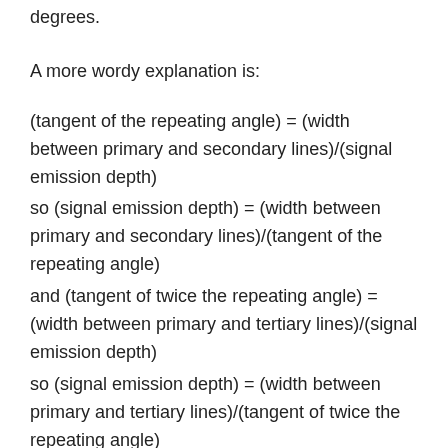degrees.
A more wordy explanation is:
(tangent of the repeating angle) = (width between primary and secondary lines)/(signal emission depth)
so (signal emission depth) = (width between primary and secondary lines)/(tangent of the repeating angle)
and (tangent of twice the repeating angle) = (width between primary and tertiary lines)/(signal emission depth)
so (signal emission depth) = (width between primary and tertiary lines)/(tangent of twice the repeating angle)